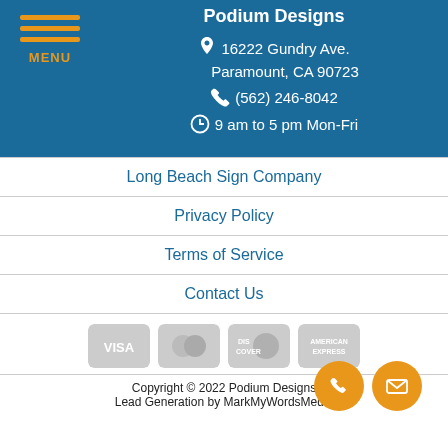Podium Designs
16222 Gundry Ave.
Paramount, CA 90723
(562) 246-8042
9 am to 5 pm Mon-Fri
Long Beach Sign Company
Privacy Policy
Terms of Service
Contact Us
[Figure (other): Payment method icons: VISA, Mastercard, Discover, American Express]
Copyright © 2022 Podium Designs
Lead Generation by MarkMyWordsMedia